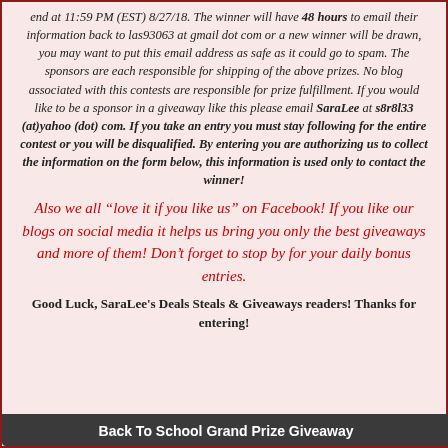end at 11:59 PM (EST) 8/27/18. The winner will have 48 hours to email their information back to las93063 at gmail dot com or a new winner will be drawn, you may want to put this email address as safe as it could go to spam. The sponsors are each responsible for shipping of the above prizes. No blog associated with this contests are responsible for prize fulfillment. If you would like to be a sponsor in a giveaway like this please email SaraLee at s8r8l33 (at)yahoo (dot) com. If you take an entry you must stay following for the entire contest or you will be disqualified. By entering you are authorizing us to collect the information on the form below, this information is used only to contact the winner!
Also we all “love it if you like us” on Facebook! If you like our blogs on social media it helps us bring you only the best giveaways and more of them! Don’t forget to stop by for your daily bonus entries.
Good Luck, SaraLee's Deals Steals & Giveaways readers! Thanks for entering!
Back To School Grand Prize Giveaway